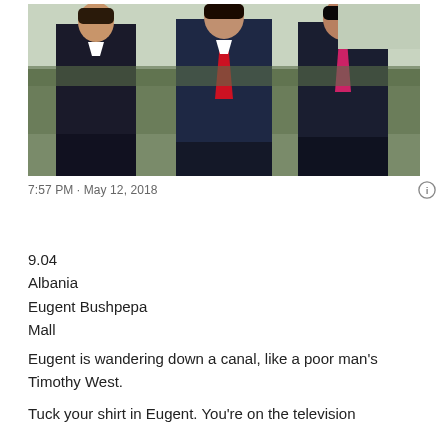[Figure (photo): Three men in dark suits walking together outdoors, with hedges and trees in the background. The middle man wears a red tie, the right man wears a pink/magenta tie.]
7:57 PM · May 12, 2018
9.04
Albania
Eugent Bushpepa
Mall
Eugent is wandering down a canal, like a poor man's Timothy West.
Tuck your shirt in Eugent. You're on the television